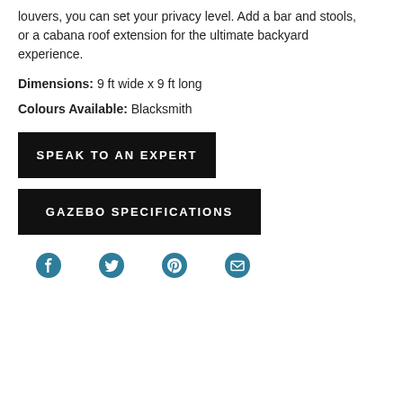louvers, you can set your privacy level. Add a bar and stools, or a cabana roof extension for the ultimate backyard experience.
Dimensions: 9 ft wide x 9 ft long
Colours Available: Blacksmith
SPEAK TO AN EXPERT
GAZEBO SPECIFICATIONS
[Figure (other): Social media share icons: Facebook, Twitter, Pinterest, Email]